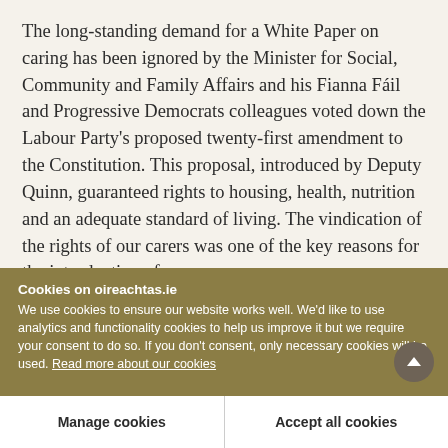The long-standing demand for a White Paper on caring has been ignored by the Minister for Social, Community and Family Affairs and his Fianna Fáil and Progressive Democrats colleagues voted down the Labour Party's proposed twenty-first amendment to the Constitution. This proposal, introduced by Deputy Quinn, guaranteed rights to housing, health, nutrition and an adequate standard of living. The vindication of the rights of our carers was one of the key reasons for the introduction of
Cookies on oireachtas.ie
We use cookies to ensure our website works well. We'd like to use analytics and functionality cookies to help us improve it but we require your consent to do so. If you don't consent, only necessary cookies will be used. Read more about our cookies
Manage cookies
Accept all cookies